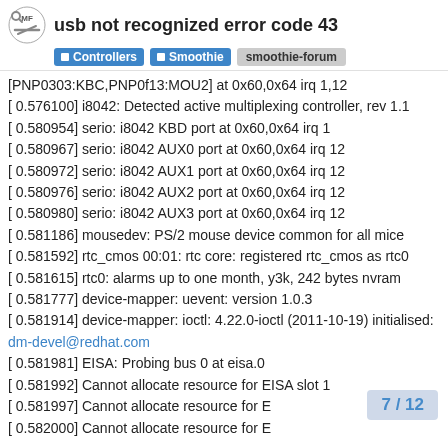usb not recognized error code 43
Controllers  Smoothie  smoothie-forum
[PNP0303:KBC,PNP0f13:MOU2] at 0x60,0x64 irq 1,12
[ 0.576100] i8042: Detected active multiplexing controller, rev 1.1
[ 0.580954] serio: i8042 KBD port at 0x60,0x64 irq 1
[ 0.580967] serio: i8042 AUX0 port at 0x60,0x64 irq 12
[ 0.580972] serio: i8042 AUX1 port at 0x60,0x64 irq 12
[ 0.580976] serio: i8042 AUX2 port at 0x60,0x64 irq 12
[ 0.580980] serio: i8042 AUX3 port at 0x60,0x64 irq 12
[ 0.581186] mousedev: PS/2 mouse device common for all mice
[ 0.581592] rtc_cmos 00:01: rtc core: registered rtc_cmos as rtc0
[ 0.581615] rtc0: alarms up to one month, y3k, 242 bytes nvram
[ 0.581777] device-mapper: uevent: version 1.0.3
[ 0.581914] device-mapper: ioctl: 4.22.0-ioctl (2011-10-19) initialised: dm-devel@redhat.com
[ 0.581981] EISA: Probing bus 0 at eisa.0
[ 0.581992] Cannot allocate resource for EISA slot 1
[ 0.581997] Cannot allocate resource for E
[ 0.582000] Cannot allocate resource for E